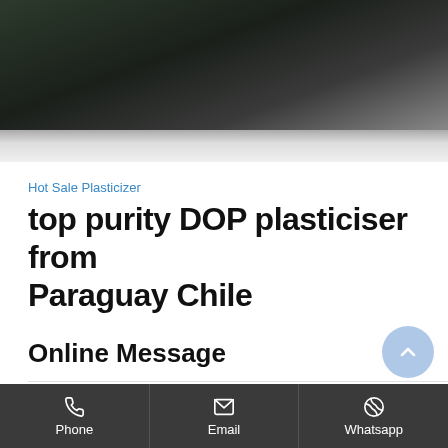[Figure (photo): Dark hero background image, appears to show leaves or foliage in dim lighting with dark green and grey tones]
Hot Sale Plasticizer
top purity DOP plasticiser from Paraguay Chile
Online Message
You can fill out the form below for more information and...
Phone   Email   Whatsapp